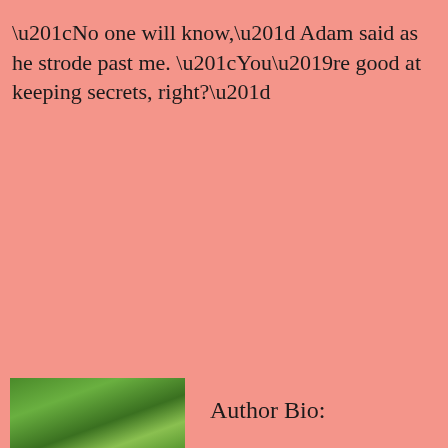“No one will know,” Adam said as he strode past me. “You’re good at keeping secrets, right?”
[Figure (photo): Photograph of green foliage/trees, partially visible at the bottom left of the page]
Author Bio: